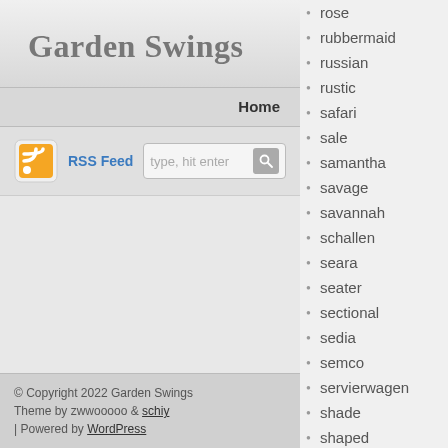Garden Swings
Home
[Figure (screenshot): RSS Feed icon and search bar with placeholder text 'type, hit enter' and a search button]
Log in
© Copyright 2022 Garden Swings
Theme by zwwooooo & schiy
| Powered by WordPress
rose
rubbermaid
russian
rustic
safari
sale
samantha
savage
savannah
schallen
seara
seater
sectional
sedia
semco
servierwagen
shade
shaped
shintenchi
simple
sing